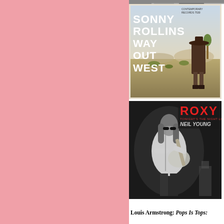[Figure (photo): Left panel with pink/salmon background color fill]
[Figure (photo): Partial album cover strip at top of right column]
[Figure (photo): Sonny Rollins 'Way Out West' album cover - man in cowboy hat standing in desert landscape with text 'SONNY ROLLINS WAY OUT WEST']
[Figure (photo): Roxy: Tonight's the Night Live - Neil Young album cover, black and white photo of Neil Young playing guitar on stage, with red 'ROXY Tonight's the Night Live NEIL YOUNG' text in upper right]
Louis Armstrong: Pops Is Tops: